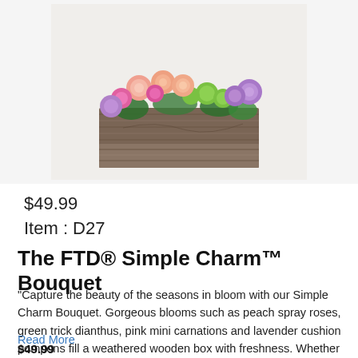[Figure (photo): A flower bouquet with peach roses, pink carnations, green trick dianthus, and lavender cushion pompons arranged in a weathered grey-brown wooden box, on a white/light grey background.]
$49.99
Item : D27
The FTD® Simple Charm™ Bouquet
"Capture the beauty of the seasons in bloom with our Simple Charm Bouquet. Gorgeous blooms such as peach spray roses, green trick dianthus, pink mini carnations and lavender cushion pompons fill a weathered wooden box with freshness. Whether you're saying thank you to a special friend or sharing the most…
Read More
$49.99
Add 5% tax